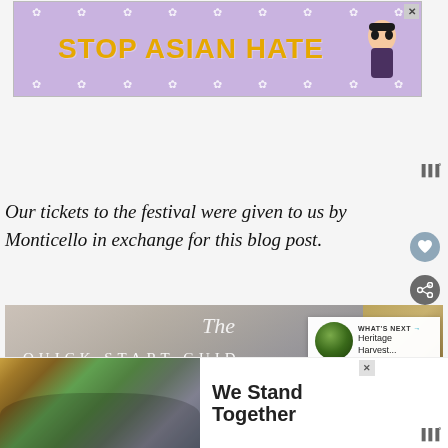[Figure (screenshot): Ad banner with lavender/purple background, white flower decorations, orange bold text reading 'STOP ASIAN HATE' with an anime-style character illustration on the right. X close button in top right corner.]
Our tickets to the festival were given to us by Monticello in exchange for this blog post.
[Figure (screenshot): Blog post featured image showing 'The Quick Start Guide' overlaid on a blurred gray textile/sweater background with golden elements. Cursive 'The' and block letters 'QUICK START GUID' visible. A 'What's Next' overlay shows a circular forest thumbnail with text 'Heritage Harvest...']
[Figure (screenshot): Bottom advertisement showing a group of people with arms around each other (shot from behind) alongside bold text reading 'We Stand Together'. X close button visible.]